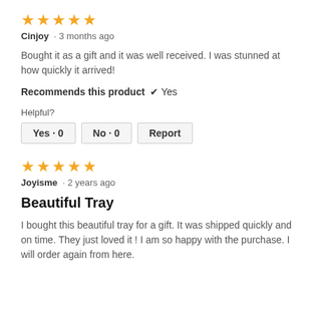[Figure (other): 5 orange stars rating]
Cinjoy · 3 months ago
Bought it as a gift and it was well received. I was stunned at how quickly it arrived!
Recommends this product ✔ Yes
Helpful?
Yes · 0  No · 0  Report
[Figure (other): 5 orange stars rating]
Joyisme · 2 years ago
Beautiful Tray
I bought this beautiful tray for a gift. It was shipped quickly and on time. They just loved it ! I am so happy with the purchase. I will order again from here.